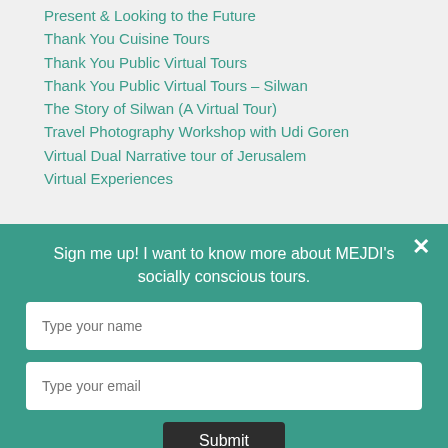Present & Looking to the Future
Thank You Cuisine Tours
Thank You Public Virtual Tours
Thank You Public Virtual Tours – Silwan
The Story of Silwan (A Virtual Tour)
Travel Photography Workshop with Udi Goren
Virtual Dual Narrative tour of Jerusalem
Virtual Experiences
Sign me up! I want to know more about MEJDI's socially conscious tours.
Type your name
Type your email
Submit